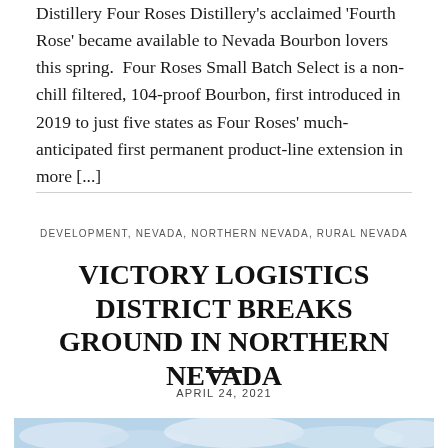Distillery Four Roses Distillery's acclaimed 'Fourth Rose' became available to Nevada Bourbon lovers this spring. Four Roses Small Batch Select is a non-chill filtered, 104-proof Bourbon, first introduced in 2019 to just five states as Four Roses' much-anticipated first permanent product-line extension in more [...]
DEVELOPMENT, NEVADA, NORTHERN NEVADA, RURAL NEVADA
VICTORY LOGISTICS DISTRICT BREAKS GROUND IN NORTHERN NEVADA
APRIL 24, 2021
[Figure (photo): Partial photo showing blue sky with clouds, cropped at bottom of page]